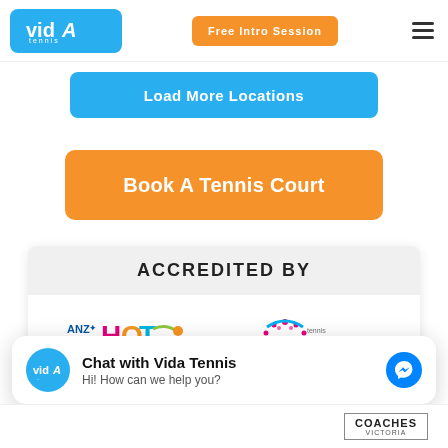Vida Tennis | Free Intro Session
Load More Locations
Book A Tennis Court
ACCREDITED BY
[Figure (logo): ANZ Hot Shots Tennis logo — colorful letters in pink, yellow, green, blue with tennis ball graphic]
[Figure (logo): Cardio Tennis logo — pink radial dots design with teal swoosh and text 'cardiotennis']
Chat with Vida Tennis
Hi! How can we help you?